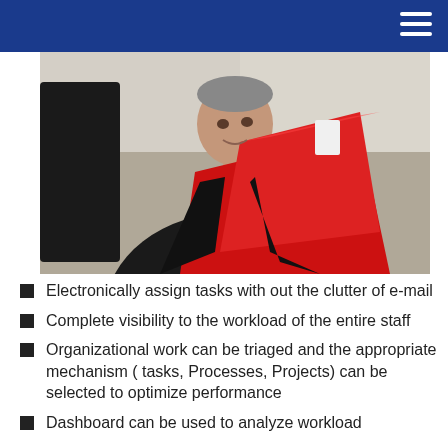[Figure (photo): A man in a dark business suit holding a large red folder, photographed from chest up against a blurred background.]
Electronically assign tasks with out the clutter of e-mail
Complete visibility to the workload of the entire staff
Organizational work can be triaged and the appropriate mechanism ( tasks, Processes, Projects) can be selected to optimize performance
Dashboard can be used to analyze workload